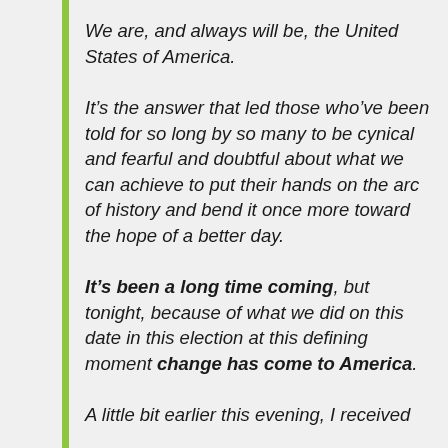We are, and always will be, the United States of America.
It’s the answer that led those who’ve been told for so long by so many to be cynical and fearful and doubtful about what we can achieve to put their hands on the arc of history and bend it once more toward the hope of a better day.
It’s been a long time coming, but tonight, because of what we did on this date in this election at this defining moment change has come to America.
A little bit earlier this evening, I received